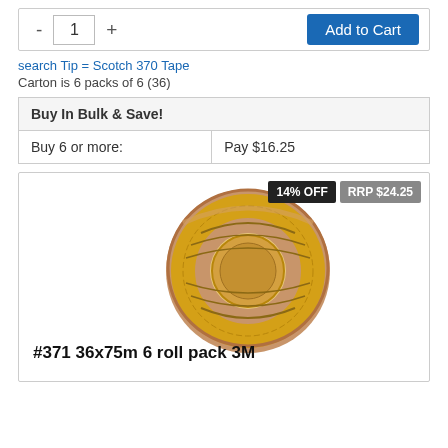- 1 + Add to Cart
search Tip = Scotch 370 Tape
Carton is 6 packs of 6 (36)
| Buy In Bulk & Save! |
| --- |
| Buy 6 or more: | Pay $16.25 |
[Figure (photo): Roll of 3M Scotch #371 36x75m packing tape (brown/tan), product label reads #371 36x75m 6 roll pack 3M. Badges show 14% OFF and RRP $24.25.]